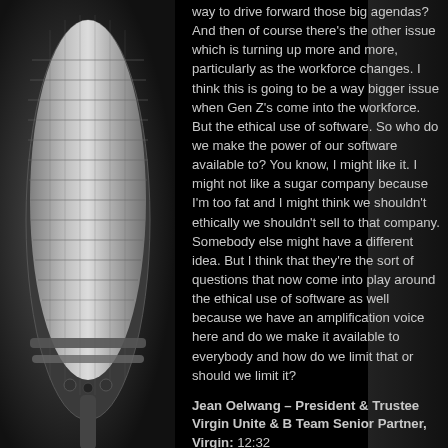[Figure (photo): Close-up photo of a silver condenser microphone against a dark background, positioned on the left side of the page.]
way to drive forward those big agendas? And then of course there's the other issue which is turning up more and more, particularly as the workforce changes. I think this is going to be a way bigger issue when Gen Z's come into the workforce. But the ethical use of software. So who do we make the power of our software available to? You know, I might like it. I might not like a sugar company because I'm too fat and I might think we shouldn't ethically we shouldn't sell to that company. Somebody else might have a different idea. But I think that they're the sort of questions that now come into play around the ethical use of software as well because we have an amplification voice here and do we make it available to everybody and how do we limit that or should we limit it?
Jean Oelwang – President & Trustee Virgin Unite & B Team Senior Partner, Virgin: 12:32
Thank you very much again for having me here. And I just wanted to say a very quick story that for me, it makes me realize how